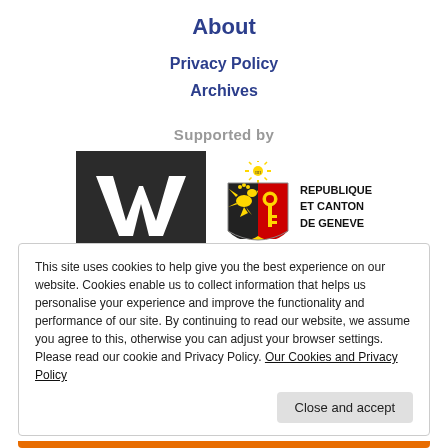About
Privacy Policy
Archives
Supported by
[Figure (logo): Two logos: a white W on dark background (Wikimedia/Wikipedia style), and the coat of arms of the Republic and Canton of Geneva with text REPUBLIQUE ET CANTON DE GENEVE]
This site uses cookies to help give you the best experience on our website. Cookies enable us to collect information that helps us personalise your experience and improve the functionality and performance of our site. By continuing to read our website, we assume you agree to this, otherwise you can adjust your browser settings. Please read our cookie and Privacy Policy. Our Cookies and Privacy Policy
Close and accept